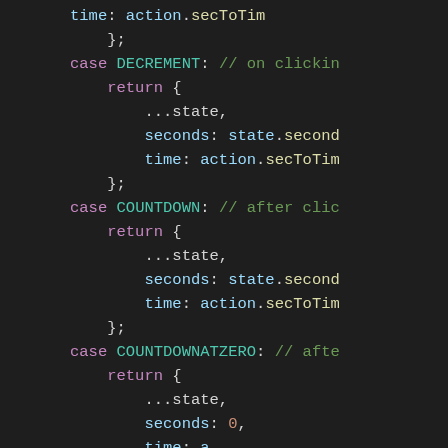[Figure (screenshot): Code editor screenshot showing JavaScript reducer switch-case code on a dark background. Code shows cases for DECREMENT, COUNTDOWN, and COUNTDOWNATZERO with return objects containing spread state, seconds, and time properties.]